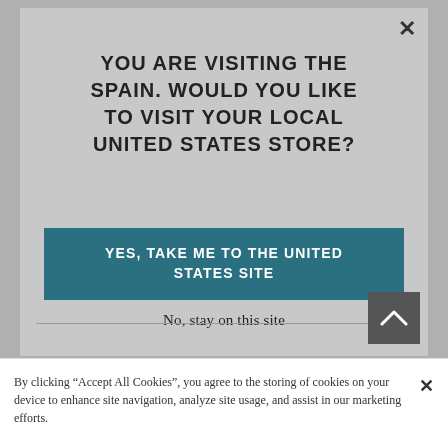YOU ARE VISITING THE SPAIN. WOULD YOU LIKE TO VISIT YOUR LOCAL UNITED STATES STORE?
YES, TAKE ME TO THE UNITED STATES SITE
No, stay on this site
By clicking “Accept All Cookies”, you agree to the storing of cookies on your device to enhance site navigation, analyze site usage, and assist in our marketing efforts.